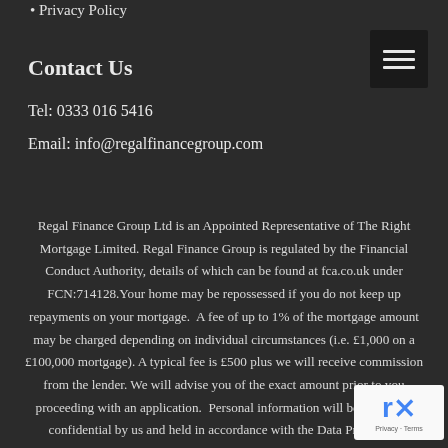• Privacy Policy
[Figure (other): Hamburger menu icon (three horizontal lines) on dark background]
Contact Us
Tel: 0333 016 5416
Email: info@regalfinancegroup.com
Regal Finance Group Ltd is an Appointed Representative of The Right Mortgage Limited. Regal Finance Group is regulated by the Financial Conduct Authority, details of which can be found at fca.co.uk under FCN:714128.Your home may be repossessed if you do not keep up repayments on your mortgage. A fee of up to 1% of the mortgage amount may be charged depending on individual circumstances (i.e. £1,000 on a £100,000 mortgage). A typical fee is £500 plus we will receive commission from the lender. We will advise you of the exact amount prior to you proceeding with an application. Personal information will be treated as confidential by us and held in accordance with the Data Protection